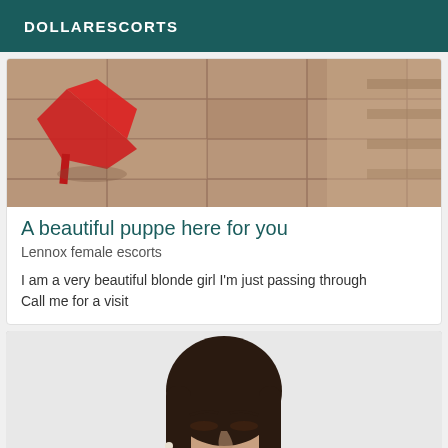DOLLARESCORTS
[Figure (photo): Close-up photo of red high heel shoes on a tiled floor]
A beautiful puppe here for you
Lennox female escorts
I am a very beautiful blonde girl I'm just passing through Call me for a visit
[Figure (photo): Photo of a dark-haired woman with makeup looking downward, wearing a white top]